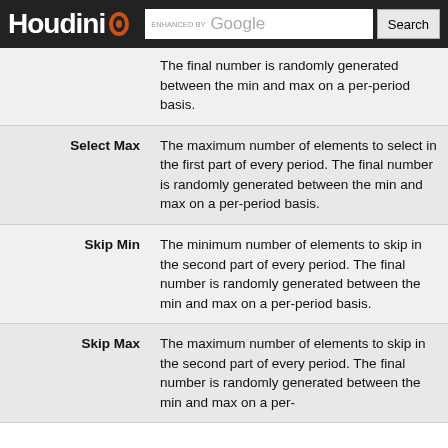Houdini | Search
| Parameter | Description |
| --- | --- |
|  | The final number is randomly generated between the min and max on a per-period basis. |
| Select Max | The maximum number of elements to select in the first part of every period. The final number is randomly generated between the min and max on a per-period basis. |
| Skip Min | The minimum number of elements to skip in the second part of every period. The final number is randomly generated between the min and max on a per-period basis. |
| Skip Max | The maximum number of elements to skip in the second part of every period. The final number is randomly generated between the min and max on a per- |